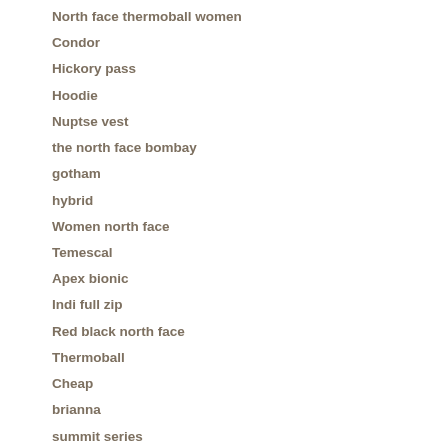North face thermoball women
Condor
Hickory pass
Hoodie
Nuptse vest
the north face bombay
gotham
hybrid
Women north face
Temescal
Apex bionic
Indi full zip
Red black north face
Thermoball
Cheap
brianna
summit series
north face